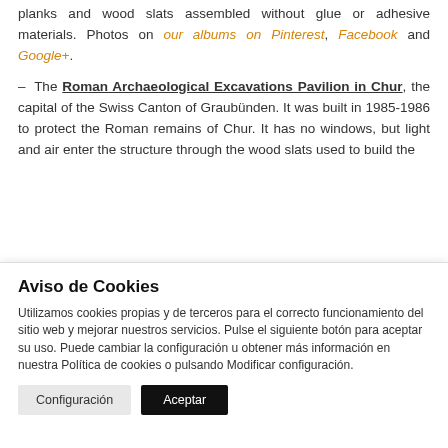planks and wood slats assembled without glue or adhesive materials. Photos on our albums on Pinterest, Facebook and Google+.
– The Roman Archaeological Excavations Pavilion in Chur, the capital of the Swiss Canton of Graubünden. It was built in 1985-1986 to protect the Roman remains of Chur. It has no windows, but light and air enter the structure through the wood slats used to build the
Aviso de Cookies
Utilizamos cookies propias y de terceros para el correcto funcionamiento del sitio web y mejorar nuestros servicios. Pulse el siguiente botón para aceptar su uso. Puede cambiar la configuración u obtener más información en nuestra Política de cookies o pulsando Modificar configuración.
Configuración | Aceptar